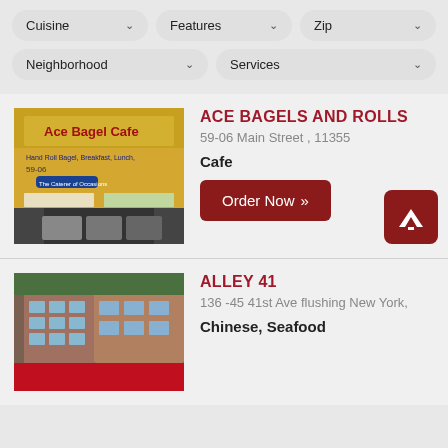Cuisine ˅
Features ˅
Zip ˅
Neighborhood ˅
Services ˅
[Figure (photo): Exterior photo of Ace Bagel Cafe storefront with yellow sign]
ACE BAGELS AND ROLLS
59-06 Main Street , 11355
Cafe
Order Now »
[Figure (photo): Exterior photo of Alley 41 building in Flushing]
ALLEY 41
136 -45 41st Ave flushing New York,
Chinese, Seafood